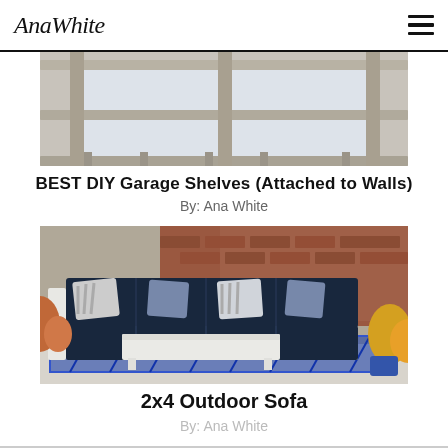AnaWhite
[Figure (photo): Photo of DIY garage shelves attached to wall, showing wooden frame shelf structure with two bays]
BEST DIY Garage Shelves (Attached to Walls)
By: Ana White
[Figure (photo): Photo of 2x4 outdoor sofa sectional with navy blue cushions, decorative pillows, white frame, white coffee table, on a patterned blue rug, with brick wall and flowers in background]
2x4 Outdoor Sofa
By: Ana White